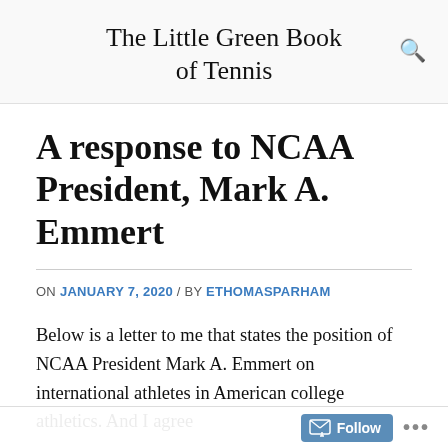The Little Green Book of Tennis
A response to NCAA President, Mark A. Emmert
ON JANUARY 7, 2020 / BY ETHOMASPARHAM
Below is a letter to me that states the position of NCAA President Mark A. Emmert on international athletes in American college athletics. And I agree